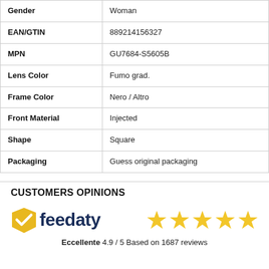| Property | Value |
| --- | --- |
| Gender | Woman |
| EAN/GTIN | 889214156327 |
| MPN | GU7684-S5605B |
| Lens Color | Fumo grad. |
| Frame Color | Nero / Altro |
| Front Material | Injected |
| Shape | Square |
| Packaging | Guess original packaging |
CUSTOMERS OPINIONS
[Figure (logo): Feedaty logo with checkmark and 5 gold stars. Caption: Eccellente 4.9 / 5 Based on 1687 reviews]